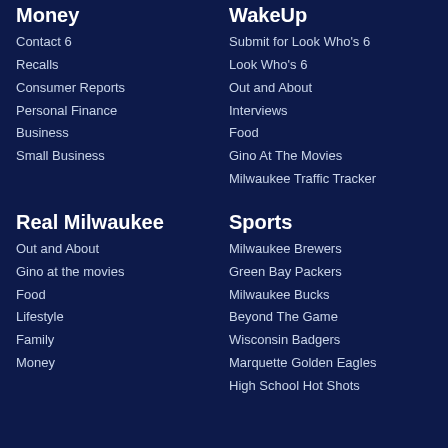Money
Contact 6
Recalls
Consumer Reports
Personal Finance
Business
Small Business
WakeUp
Submit for Look Who's 6
Look Who's 6
Out and About
Interviews
Food
Gino At The Movies
Milwaukee Traffic Tracker
Real Milwaukee
Out and About
Gino at the movies
Food
Lifestyle
Family
Money
Sports
Milwaukee Brewers
Green Bay Packers
Milwaukee Bucks
Beyond The Game
Wisconsin Badgers
Marquette Golden Eagles
High School Hot Shots